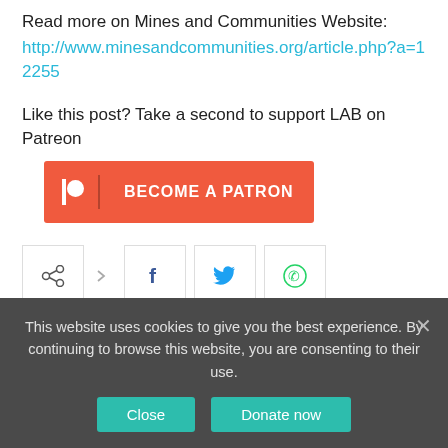Read more on Mines and Communities Website:
http://www.minesandcommunities.org/article.php?a=12255
Like this post? Take a second to support LAB on Patreon
[Figure (other): Patreon 'Become a Patron' button in orange/red]
[Figure (other): Social share icons: share, Facebook, Twitter, WhatsApp]
PREVIOUS ARTICLE
ULAM (Union Latinoamericana De
NEXT ARTICLE
Argentina: Chagas – a Silent Killer
This website uses cookies to give you the best experience. By continuing to browse this website, you are consenting to their use.
Close   Donate now